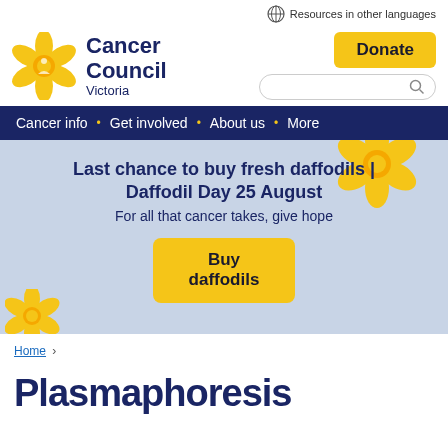Resources in other languages
[Figure (logo): Cancer Council Victoria logo with yellow daffodil flower and dark blue text]
Donate
[Figure (screenshot): Search box with magnifying glass icon]
Cancer info · Get involved · About us · More
[Figure (infographic): Hero banner with daffodil decorations on grey-blue background, text: Last chance to buy fresh daffodils | Daffodil Day 25 August, For all that cancer takes, give hope, Buy daffodils button]
Home >
Plasmaphoresis